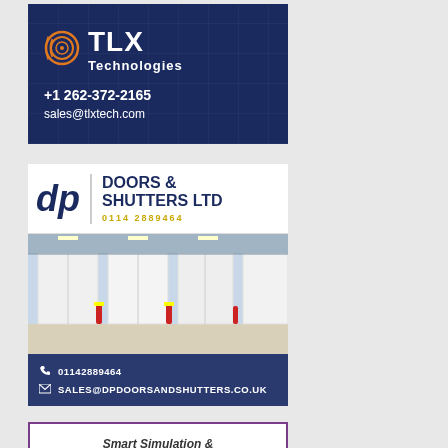[Figure (advertisement): TLX Technologies advertisement with dark navy blue background, orange and white logo, phone number +1 262-372-2165 and email sales@tlxtech.com]
[Figure (advertisement): DP Doors & Shutters Ltd advertisement showing company logo, warehouse interior with large industrial doors, contact phone 01142889464 and email SALES@DPDOORSANDSHUTTERS.CO.UK]
[Figure (advertisement): Smart Simulation & Sizing Tools advertisement with purple border, italic bold text headline and piping equipment illustration at bottom]